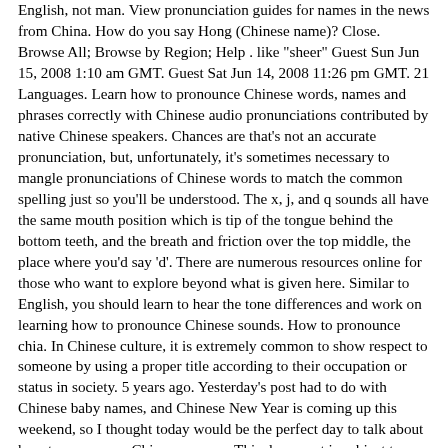English, not man. View pronunciation guides for names in the news from China. How do you say Hong (Chinese name)? Close. Browse All; Browse by Region; Help . like "sheer" Guest Sun Jun 15, 2008 1:10 am GMT. Guest Sat Jun 14, 2008 11:26 pm GMT. 21 Languages. Learn how to pronounce Chinese words, names and phrases correctly with Chinese audio pronunciations contributed by native Chinese speakers. Chances are that's not an accurate pronunciation, but, unfortunately, it's sometimes necessary to mangle pronunciations of Chinese words to match the common spelling just so you'll be understood. The x, j, and q sounds all have the same mouth position which is tip of the tongue behind the bottom teeth, and the breath and friction over the top middle, the place where you'd say 'd'. There are numerous resources online for those who want to explore beyond what is given here. Similar to English, you should learn to hear the tone differences and work on learning how to pronounce Chinese sounds. How to pronounce chia. In Chinese culture, it is extremely common to show respect to someone by using a proper title according to their occupation or status in society. 5 years ago. Yesterday's post had to do with Chinese baby names, and Chinese New Year is coming up this weekend, so I thought today would be the perfect day to talk about how to pronounce Chinese names.. This document is subject to BCP 78 and the IETF Trust's Legal Provisions Relating to IETF Documents (http://trustee.ietf.org/license-info) in effect on the date of publication of this document. Another of the authors has the first name "Hui" and the last name "Dong". The rules are widely